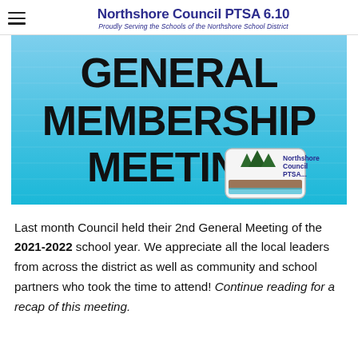Northshore Council PTSA 6.10 — Proudly Serving the Schools of the Northshore School District
[Figure (photo): Banner image with light blue background, large bold black text reading 'GENERAL MEMBERSHIP MEETING' and Northshore Council PTSA logo in lower center.]
Last month Council held their 2nd General Meeting of the 2021-2022 school year. We appreciate all the local leaders from across the district as well as community and school partners who took the time to attend! Continue reading for a recap of this meeting.